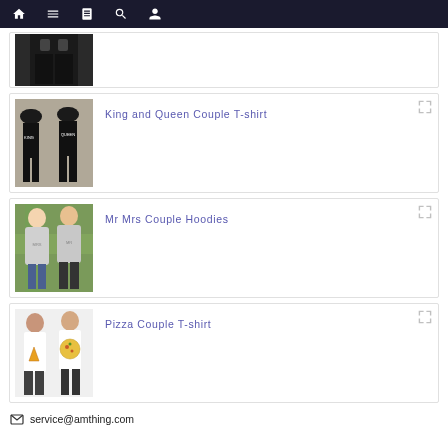Navigation bar with home, menu, book, search, profile icons
[Figure (photo): Partial product listing card showing a black hoodie/sweatshirt worn by two people, top cropped]
[Figure (photo): King and Queen Couple T-shirt product photo: two people in black matching t-shirts]
King and Queen Couple T-shirt
[Figure (photo): Mr Mrs Couple Hoodies product photo: a couple wearing matching grey hoodies in front of graffiti wall]
Mr Mrs Couple Hoodies
[Figure (photo): Pizza Couple T-shirt product photo: a woman and man wearing white t-shirts with pizza graphic]
Pizza Couple T-shirt
service@amthing.com